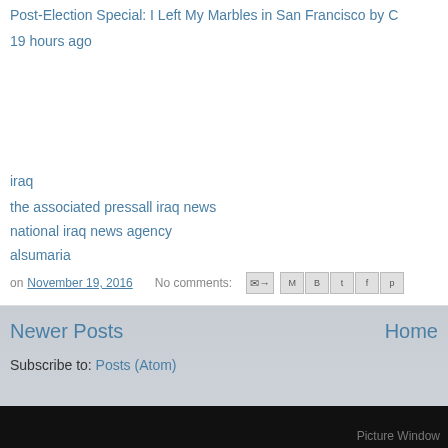Post-Election Special: I Left My Marbles in San Francisco by C
19 hours ago
iraq
the associated pressall iraq news
national iraq news agency
alsumaria
on November 19, 2016   No comments:
Newer Posts
Home
Subscribe to: Posts (Atom)
Picture Window